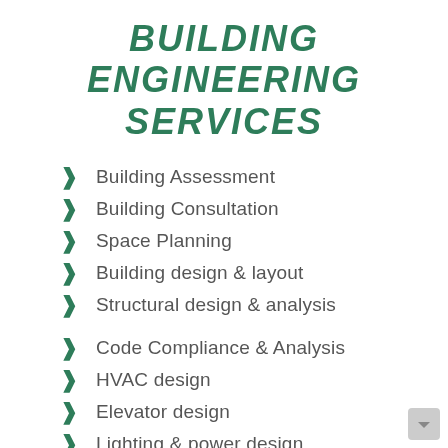BUILDING ENGINEERING SERVICES
Building Assessment
Building Consultation
Space Planning
Building design & layout
Structural design & analysis
Code Compliance & Analysis
HVAC design
Elevator design
Lighting & power design